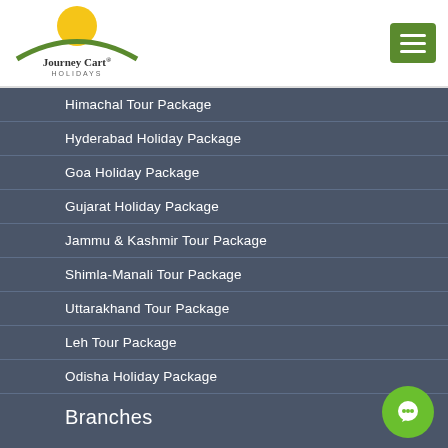[Figure (logo): Journey Cart Holidays logo with yellow sun circle and green arc, text 'Journey Cart® HOLIDAYS']
Himachal Tour Package
Hyderabad Holiday Package
Goa Holiday Package
Gujarat Holiday Package
Jammu & Kashmir Tour Package
Shimla-Manali Tour Package
Uttarakhand Tour Package
Leh Tour Package
Odisha Holiday Package
Branches